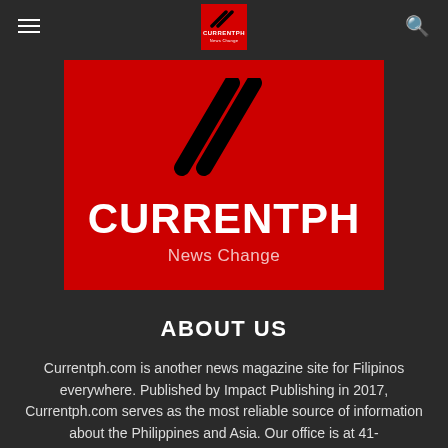CURRENTPH
[Figure (logo): CurrentPH logo on red background with diagonal slash marks above the text CURRENTPH and tagline News Change]
ABOUT US
Currentph.com is another news magazine site for Filipinos everywhere. Published by Impact Publishing in 2017, Currentph.com serves as the most reliable source of information about the Philippines and Asia. Our office is at 41-